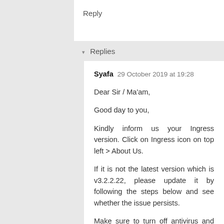cannot download in the Ingress server.
Reply
▾ Replies
Syafa 29 October 2019 at 19:28

Dear Sir / Ma'am,

Good day to you,

Kindly inform us your Ingress version. Click on Ingress icon on top left > About Us.

If it is not the latest version which is v3.2.2.22, please update it by following the steps below and see whether the issue persists.

Make sure to turn off antivirus and firewall before you proceed.

1) Backup your database in System Settings > Database Configuration > Browse